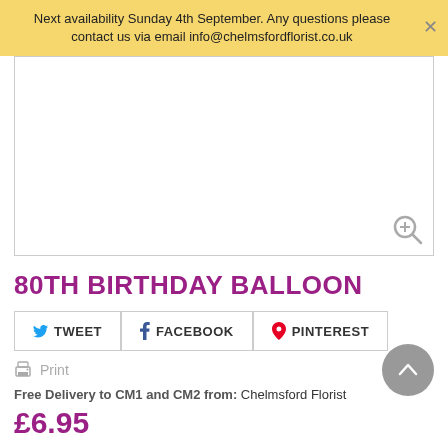Next availability Sunday 4th September. Any questions please contact us via email info@chelmsfordflorist.co.uk
[Figure (photo): Product image area with zoom icon, white background]
80TH BIRTHDAY BALLOON
TWEET  FACEBOOK  PINTEREST
Print
Free Delivery to CM1 and CM2 from: Chelmsford Florist
£6.95
ADD TO BASKET